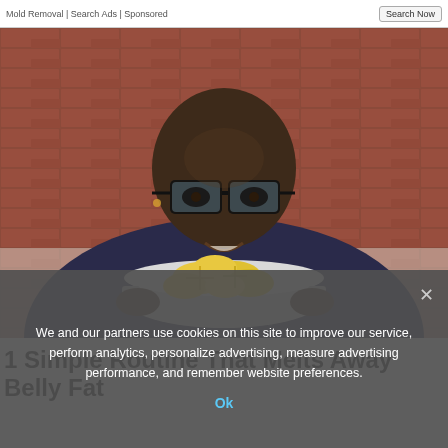Mold Removal | Search Ads | Sponsored   [Search Now]
[Figure (photo): A man wearing large black-framed glasses and a dark patterned shirt holding a pot filled with lemon slices in what appears to be a kitchen]
1 Simple Routine That Melts Away Belly Fat
We and our partners use cookies on this site to improve our service, perform analytics, personalize advertising, measure advertising performance, and remember website preferences.
Ok